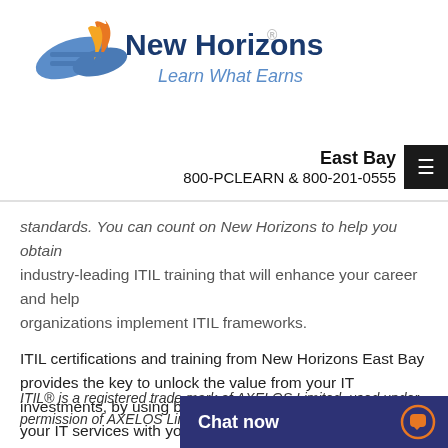[Figure (logo): New Horizons logo with tagline 'Learn What Earns']
East Bay
800-PCLEARN  & 800-201-0555
standards. You can count on New Horizons to help you obtain industry-leading ITIL training that will enhance your career and help organizations implement ITIL frameworks.
ITIL certifications and training from New Horizons East Bay provides the key to unlock the value from your IT investments, by using best practice frameworks to align your IT services with your organizations strategy and goals.
ITIL® is a registered trade mark of AXELOS Limited, used under permission of AXELOS Limit... ...of AXELOS Li...